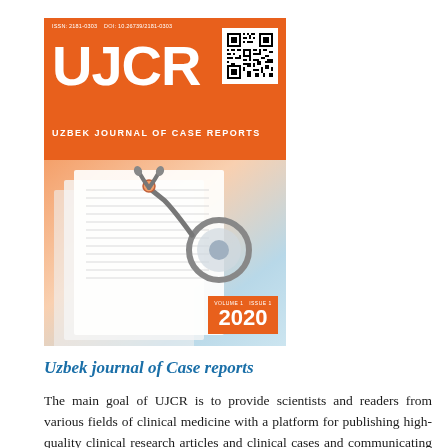[Figure (illustration): Cover of Uzbek Journal of Case Reports (UJCR) 2020, orange background with large white UJCR text, QR code, stethoscope and medical forms imagery, year badge 2020.]
Uzbek journal of Case reports
The main goal of UJCR is to provide scientists and readers from various fields of clinical medicine with a platform for publishing high-quality clinical research articles and clinical cases and communicating the results of their research. In